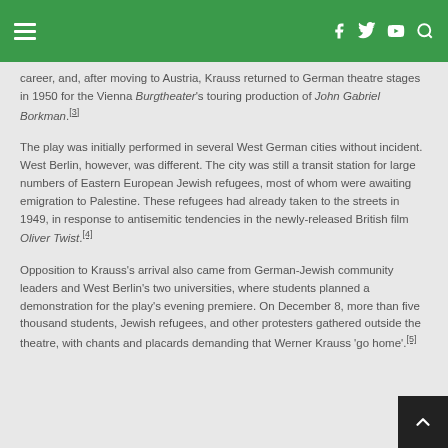[navigation bar with hamburger menu and social icons]
career, and, after moving to Austria, Krauss returned to German theatre stages in 1950 for the Vienna Burgtheater's touring production of John Gabriel Borkman.[3]
The play was initially performed in several West German cities without incident. West Berlin, however, was different. The city was still a transit station for large numbers of Eastern European Jewish refugees, most of whom were awaiting emigration to Palestine. These refugees had already taken to the streets in 1949, in response to antisemitic tendencies in the newly-released British film Oliver Twist.[4]
Opposition to Krauss's arrival also came from German-Jewish community leaders and West Berlin's two universities, where students planned a demonstration for the play's evening premiere. On December 8, more than five thousand students, Jewish refugees, and other protesters gathered outside the theatre, with chants and placards demanding that Werner Krauss 'go home'.[5]